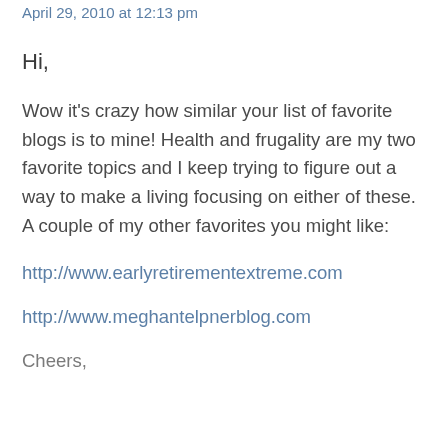April 29, 2010 at 12:13 pm
Hi,
Wow it's crazy how similar your list of favorite blogs is to mine! Health and frugality are my two favorite topics and I keep trying to figure out a way to make a living focusing on either of these. A couple of my other favorites you might like:
http://www.earlyretirementextreme.com
http://www.meghantelpnerblog.com
Cheers,